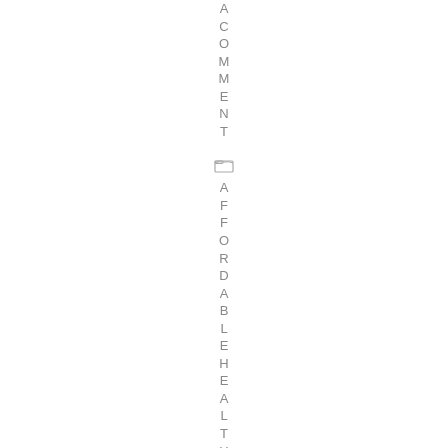A COMMENT AFFORDABLE HEALTH INSU
[Figure (illustration): Small folder/document icon between the two vertical text words]